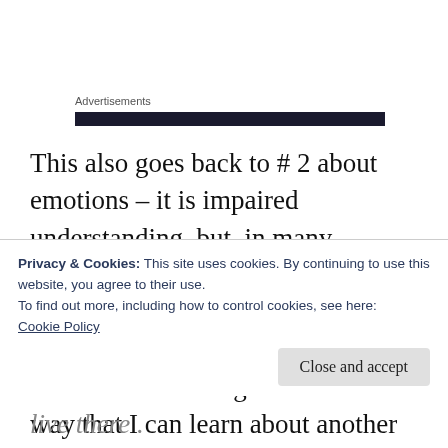Advertisements
This also goes back to # 2 about emotions – it is impaired understanding, but, in many individuals, an understanding that can be reached through another route, through explicit teaching and conversation strategies. In the same way that I can learn about another
Privacy & Cookies: This site uses cookies. By continuing to use this website, you agree to their use.
To find out more, including how to control cookies, see here:
Cookie Policy
live there .